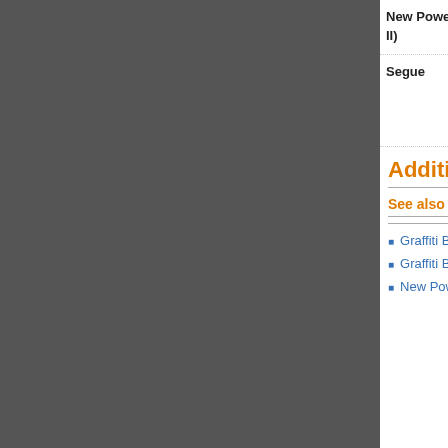| Title | Type | Notes |
| --- | --- | --- |
| New Power Generation (Pt. I & II) | Studio | Full version incorporating guitar solo from Prince joining two parts (title unconfirmed) |
| Segue | Segue | "Are there really angels?" segue, later incorporated into N.P.G. (Funky Weapon Remix) and Loveleft, Loveright |
Additional Information
See also
Trivia
Graffiti Bridge album
Graffiti Bridge movie
New Power
The name "New Power Generation" has been re-used by Prince for many products over the